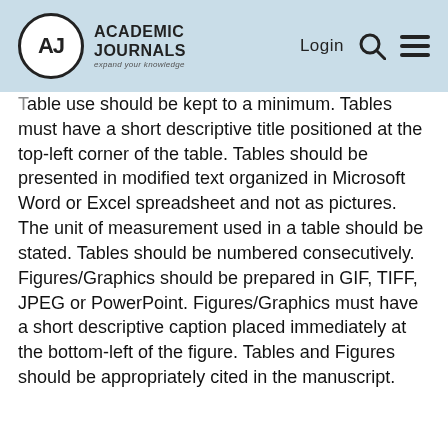Academic Journals — expand your knowledge | Login
Table use should be kept to a minimum. Tables must have a short descriptive title positioned at the top-left corner of the table. Tables should be presented in modified text organized in Microsoft Word or Excel spreadsheet and not as pictures. The unit of measurement used in a table should be stated. Tables should be numbered consecutively. Figures/Graphics should be prepared in GIF, TIFF, JPEG or PowerPoint. Figures/Graphics must have a short descriptive caption placed immediately at the bottom-left of the figure. Tables and Figures should be appropriately cited in the manuscript.